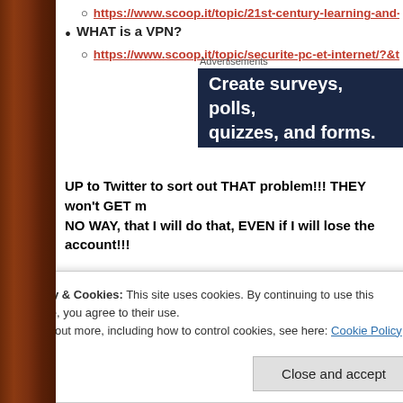https://www.scoop.it/topic/21st-century-learning-and-tea
WHAT is a VPN?
https://www.scoop.it/topic/securite-pc-et-internet/?&tag=
[Figure (screenshot): Advertisement banner with dark blue background reading 'Create surveys, polls, quizzes, and forms.']
UP to Twitter to sort out THAT problem!!! THEY won't GET my NO WAY, that I will do that, EVEN if I will lose the account!!!
As on 11 January 2020, my Twitter account was unlocked!
Privacy & Cookies: This site uses cookies. By continuing to use this website, you agree to their use.
To find out more, including how to control cookies, see here: Cookie Policy
Close and accept